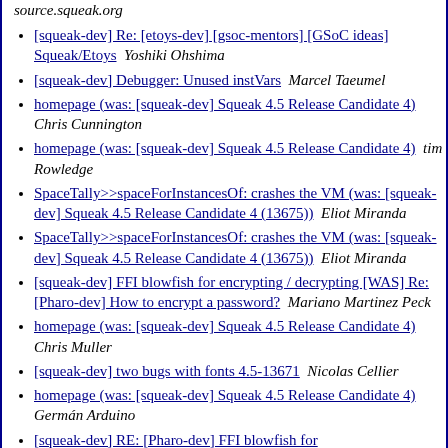source.squeak.org
[squeak-dev] Re: [etoys-dev] [gsoc-mentors] [GSoC ideas] Squeak/Etoys   Yoshiki Ohshima
[squeak-dev] Debugger: Unused instVars   Marcel Taeumel
homepage (was: [squeak-dev] Squeak 4.5 Release Candidate 4)   Chris Cunnington
homepage (was: [squeak-dev] Squeak 4.5 Release Candidate 4)   tim Rowledge
SpaceTally>>spaceForInstancesOf: crashes the VM (was: [squeak-dev] Squeak 4.5 Release Candidate 4 (13675))   Eliot Miranda
SpaceTally>>spaceForInstancesOf: crashes the VM (was: [squeak-dev] Squeak 4.5 Release Candidate 4 (13675))   Eliot Miranda
[squeak-dev] FFI blowfish for encrypting / decrypting [WAS] Re: [Pharo-dev] How to encrypt a password?   Mariano Martinez Peck
homepage (was: [squeak-dev] Squeak 4.5 Release Candidate 4)   Chris Muller
[squeak-dev] two bugs with fonts 4.5-13671   Nicolas Cellier
homepage (was: [squeak-dev] Squeak 4.5 Release Candidate 4)   Germán Arduino
[squeak-dev] RE: [Pharo-dev] FFI blowfish for encrypting/decrypting [WAS] Re: H…